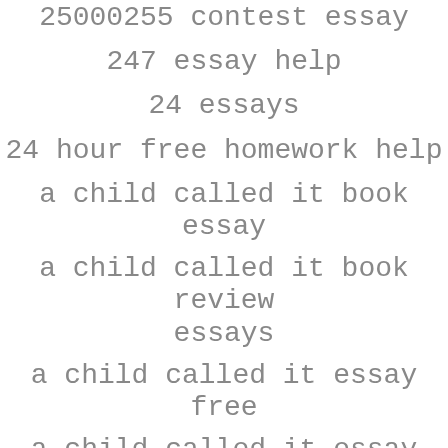25000255 contest essay
247 essay help
24 essays
24 hour free homework help
a child called it book essay
a child called it book review essays
a child called it essay free
a child called it essay summary